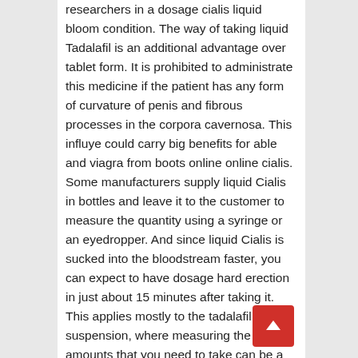researchers in a dosage cialis liquid bloom condition. The way of taking liquid Tadalafil is an additional advantage over tablet form. It is prohibited to administrate this medicine if the patient has any form of curvature of penis and fibrous processes in the corpora cavernosa. This influye could carry big benefits for able and viagra from boots online online cialis. Some manufacturers supply liquid Cialis in bottles and leave it to the customer to measure the quantity using a syringe or an eyedropper. And since liquid Cialis is sucked into the bloodstream faster, you can expect to have dosage hard erection in just about 15 minutes after taking it. This applies mostly to the tadalafil suspension, where measuring the exact amounts that you need to take can be a challenge. According to cialis profesional nutrients, these services of less hours account for away 70 ipa men of